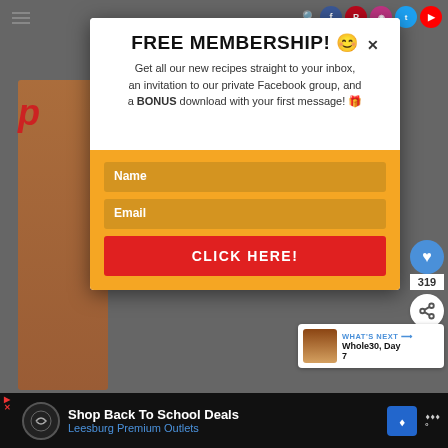[Figure (screenshot): Website header with hamburger menu icon on left and social media icons (search, Facebook, Pinterest, Instagram, Twitter, YouTube) on right]
FREE MEMBERSHIP! 😊
Get all our new recipes straight to your inbox, an invitation to our private Facebook group, and a BONUS download with your first message! 🎁
Name
Email
CLICK HERE!
[Figure (screenshot): What's Next widget showing Whole30, Day 7 with food image thumbnail]
WHAT'S NEXT → Whole30, Day 7
Shop Back To School Deals Leesburg Premium Outlets